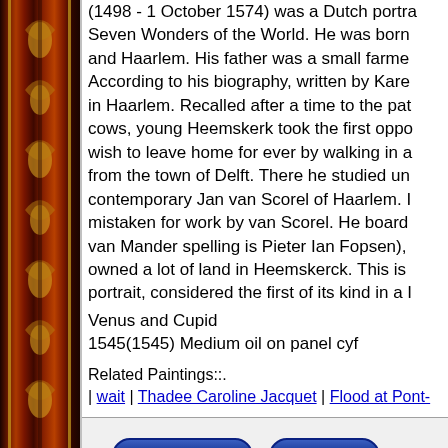[Figure (illustration): Decorative ornate picture frame with dark red, gold, and brown colors featuring baroque ornamental carvings, showing only the left vertical side of the frame]
(1498 - 1 October 1574) was a Dutch portra… Seven Wonders of the World. He was born… and Haarlem. His father was a small farme… According to his biography, written by Kare… in Haarlem. Recalled after a time to the pat… cows, young Heemskerk took the first oppo… wish to leave home for ever by walking in a… from the town of Delft. There he studied un… contemporary Jan van Scorel of Haarlem. … mistaken for work by van Scorel. He board… van Mander spelling is Pieter Ian Fopsen),… owned a lot of land in Heemskerck. This is… portrait, considered the first of its kind in a …
Venus and Cupid
1545(1545) Medium oil on panel cyf
Related Paintings::.
| wait | Thadee Caroline Jacquet | Flood at Pont-…